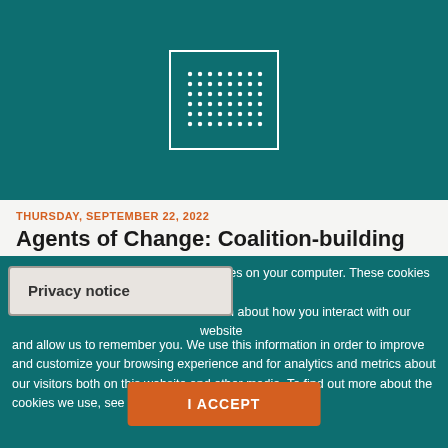[Figure (logo): White square border with a grid of small white dots inside, on a teal background]
THURSDAY, SEPTEMBER 22, 2022
Agents of Change: Coalition-building
Privacy notice
cookies on your computer. These cookies are nation about how you interact with our website and allow us to remember you. We use this information in order to improve and customize your browsing experience and for analytics and metrics about our visitors both on this website and other media. To find out more about the cookies we use, see our Privacy Policy.
I ACCEPT